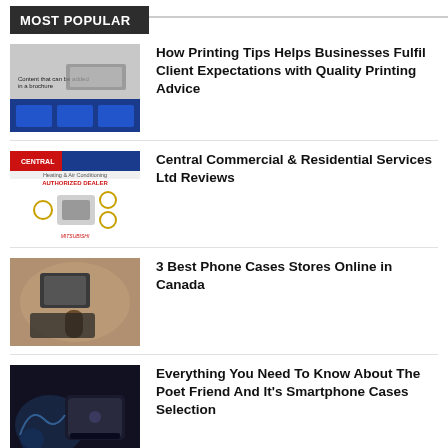MOST POPULAR
How Printing Tips Helps Businesses Fulfil Client Expectations with Quality Printing Advice
Central Commercial & Residential Services Ltd Reviews
3 Best Phone Cases Stores Online in Canada
Everything You Need To Know About The Poet Friend And It's Smartphone Cases Selection